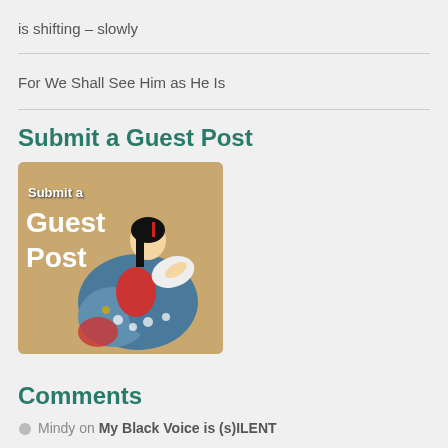is shifting – slowly
For We Shall See Him as He Is
Submit a Guest Post
[Figure (illustration): A decorative banner image showing a Japanese-style painting of a woman in traditional kimono reading a scroll, with overlaid white bold text reading 'Submit a Guest Post']
Comments
Mindy on My Black Voice is (s)ILENT